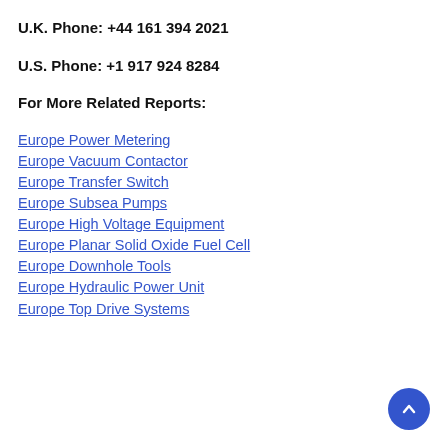U.K. Phone: +44 161 394 2021
U.S. Phone: +1 917 924 8284
For More Related Reports:
Europe Power Metering
Europe Vacuum Contactor
Europe Transfer Switch
Europe Subsea Pumps
Europe High Voltage Equipment
Europe Planar Solid Oxide Fuel Cell
Europe Downhole Tools
Europe Hydraulic Power Unit
Europe Top Drive Systems